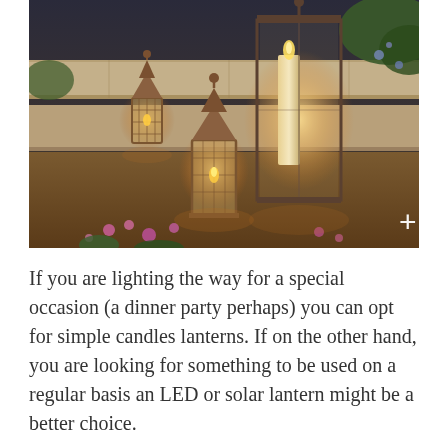[Figure (photo): Photograph of decorative outdoor lanterns glowing with candles, placed on stone steps surrounded by pink flowers and greenery at dusk. Various sizes of lanterns including Moroccan-style ornate ones and a large glass lantern with a pillar candle. A white plus (+) sign is overlaid in the bottom right corner.]
If you are lighting the way for a special occasion (a dinner party perhaps) you can opt for simple candles lanterns. If on the other hand, you are looking for something to be used on a regular basis an LED or solar lantern might be a better choice.